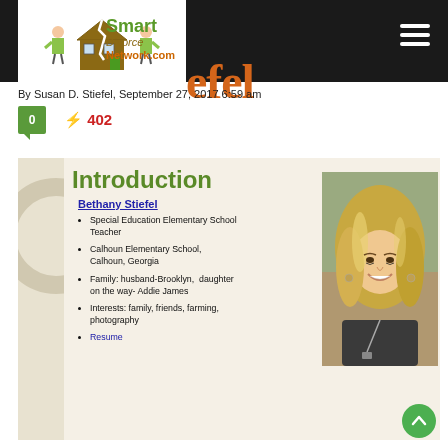Smart Divorce Network.com — navigation header
By Susan D. Stiefel, September 27, 2017 6:59 am
Introduction
Bethany Stiefel
Special Education Elementary School Teacher
Calhoun Elementary School, Calhoun, Georgia
Family: husband-Brooklyn, daughter on the way- Addie James
Interests: family, friends, farming, photography
Resume
[Figure (photo): Headshot photo of Bethany Stiefel, a young woman with long blonde highlighted hair, smiling, wearing a dark top with a lanyard/necklace, outdoors background]